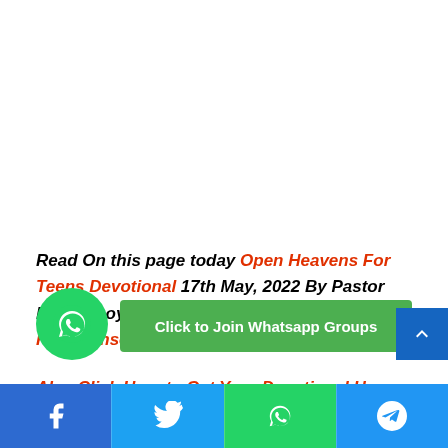Read On this page today Open Heavens For Teens Devotional 17th May, 2022 By Pastor EA Adeboye Brought to you by Kingdomsermons
Also Click Here to Get Your Devotional Here